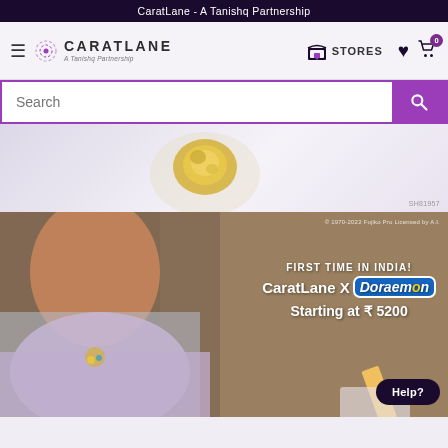CaratLane - A Tanishq Partnership
[Figure (screenshot): CaratLane website navigation bar with logo, STORES button, wishlist heart icon, and cart icon with badge 0]
[Figure (screenshot): Search bar with purple search button]
[Figure (photo): Jewelry item on light background with SKU label SH81957]
[Figure (photo): Promotional banner showing a young girl wearing Doraemon jewelry necklace. Text: FIRST TIME IN INDIA! CaratLane X Doraemon Starting at ₹5200. License text: © 1970-2022 Fujiko Pro Licensed by A.I.]
Help?